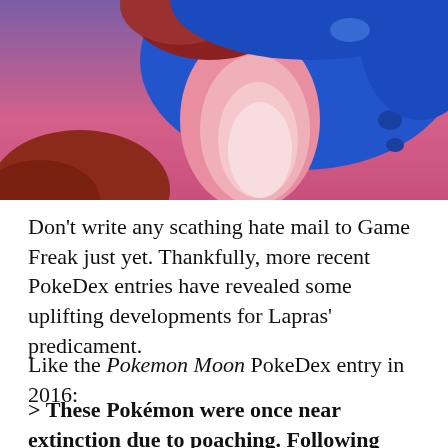[Figure (illustration): Close-up illustration of Lapras, a blue Pokémon, showing its head and neck area with a pink/white belly pattern and a red rocky background with purple/pink sky.]
Don't write any scathing hate mail to Game Freak just yet. Thankfully, more recent PokeDex entries have revealed some uplifting developments for Lapras' predicament.
Like the Pokemon Moon PokeDex entry in 2016:
> These Pokémon were once near extinction due to poaching. Following protective regulations.